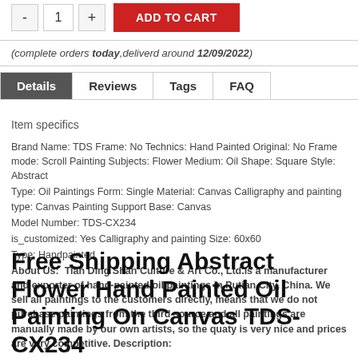- 1 + ADD TO CART
(complete orders today, deliverd around 12/09/2022)
Details | Reviews | Tags | FAQ
Item specifics
Brand Name: TDS Frame: No Technics: Hand Painted Original: No Frame mode: Scroll Painting Subjects: Flower Medium: Oil Shape: Square Style: Abstract
Type: Oil Paintings Form: Single Material: Canvas Calligraphy and painting type: Canvas Painting Support Base: Canvas
Model Number: TDS-CX234
is_customized: Yes Calligraphy and painting Size: 60x60
Type: Handpainted
About Us: Tian Ding Shan Culture & Art Co., Ltd.is a manufacturer and exporter of hand-painted oil paintings in Putian City, China. We sell all paintings to the customers directly, means that we do not purchase paintings from the third source and all paintings are manually made by our own artists, so the quaty is very nice and prices are very competitive. Description:
Free Shipping Abstract Flower Hand Painted Oil Painting On Canvas TDS-CX234